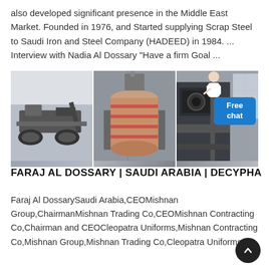also developed significant presence in the Middle East Market. Founded in 1976, and Started supplying Scrap Steel to Saudi Iron and Steel Company (HADEED) in 1984. ... Interview with Nadia Al Dossary "Have a firm Goal ...
[Figure (photo): Three panel composite image showing industrial/manufacturing equipment: left panel shows a tracked mobile crusher/shredder machine in a warehouse, center panel shows a large industrial cylindrical drum or furnace with red markings, right panel shows heavy industrial machinery in a factory setting. A 'Free chat' badge appears in the top-right corner overlay.]
FARAJ AL DOSSARY | SAUDI ARABIA | DECYPHA
Faraj Al DossarySaudi Arabia,CEOMishnan Group,ChairmanMishnan Trading Co,CEOMishnan Contracting Co,Chairman and CEOCleopatra Uniforms,Mishnan Contracting Co,Mishnan Group,Mishnan Trading Co,Cleopatra Uniforms